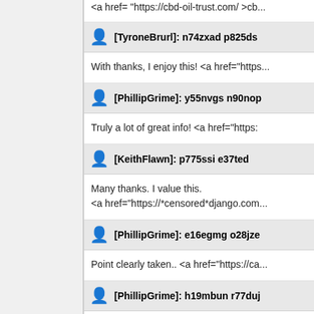<a href="https://cbd-oil-trust.com/ >cb...
[TyroneBrurl]: n74zxad p825ds
With thanks, I enjoy this! <a href="https...
[PhillipGrime]: y55nvgs n90nop
Truly a lot of great info! <a href="https:
[KeithFlawn]: p775ssi e37ted
Many thanks. I value this.
<a href="https://*censored*django.com...
[PhillipGrime]: e16egmg o28jze
Point clearly taken.. <a href="https://ca...
[PhillipGrime]: h19mbun r77duj